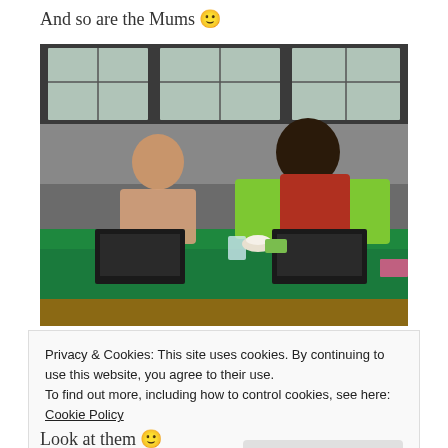And so are the Mums 🙂
[Figure (photo): Two women seated at a green-clothed conference table with laptops, green chairs, and windows in the background.]
Privacy & Cookies: This site uses cookies. By continuing to use this website, you agree to their use.
To find out more, including how to control cookies, see here: Cookie Policy
Close and accept
Look at them 🙂